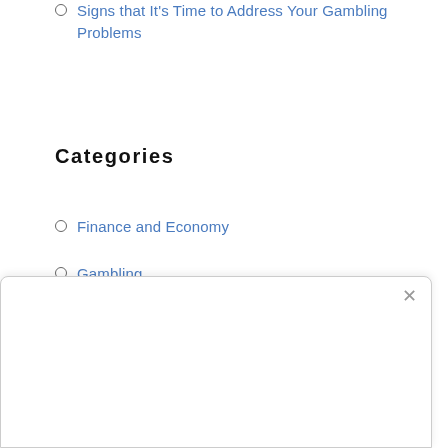Signs that It's Time to Address Your Gambling Problems
Categories
Finance and Economy
Gambling
Gambling & Finance
Gambling & Politics